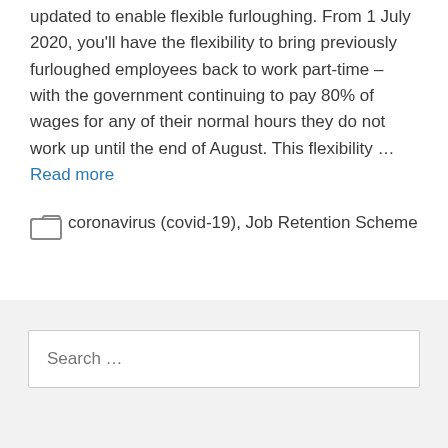updated to enable flexible furloughing. From 1 July 2020, you'll have the flexibility to bring previously furloughed employees back to work part-time – with the government continuing to pay 80% of wages for any of their normal hours they do not work up until the end of August. This flexibility … Read more
coronavirus (covid-19), Job Retention Scheme
Search …